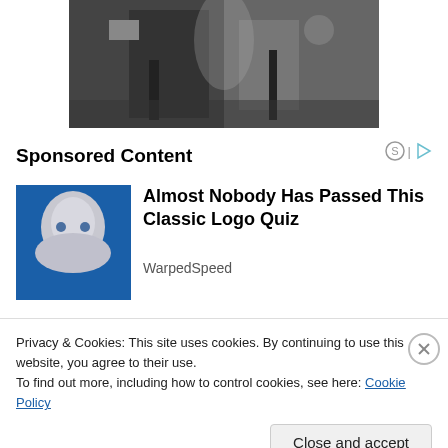[Figure (photo): Black and white photograph of a musician playing guitar on stage, with other performers visible in background]
Sponsored Content
[Figure (photo): Sponsored ad image showing a child's face on a blue background]
Almost Nobody Has Passed This Classic Logo Quiz
WarpedSpeed
Privacy & Cookies: This site uses cookies. By continuing to use this website, you agree to their use.
To find out more, including how to control cookies, see here: Cookie Policy
Close and accept